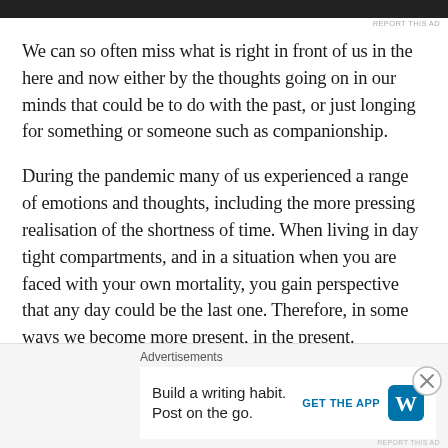[Figure (other): Dark advertisement banner bar at top of page]
REPORT THIS AD
We can so often miss what is right in front of us in the here and now either by the thoughts going on in our minds that could be to do with the past, or just longing for something or someone such as companionship.
During the pandemic many of us experienced a range of emotions and thoughts, including the more pressing realisation of the shortness of time. When living in day tight compartments, and in a situation when you are faced with your own mortality, you gain perspective that any day could be the last one. Therefore, in some ways we become more present, in the present.
Th...
Advertisements
Build a writing habit. Post on the go.
GET THE APP
REPORT THIS AD